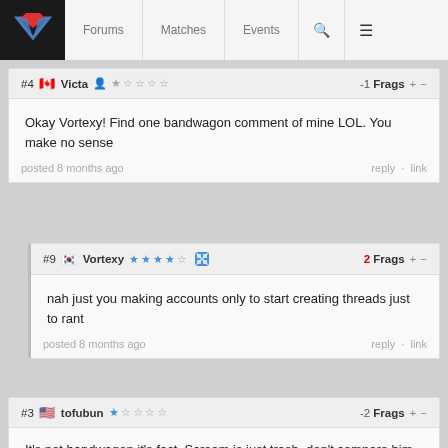Forums  Matches  Events
#4 Victa -1 Frags + -
Okay Vortexy! Find one bandwagon comment of mine LOL. You make no sense
posted 8 months ago  reply · link
#9 Vortexy 2 Frags + -
nah just you making accounts only to start creating threads just to rant
posted 8 months ago  reply · link
#3 tofubun -2 Frags + -
It's not bandwagon it's fact. Scream is just trash, don't compare him to tenz.
posted 8 months ago  reply · link